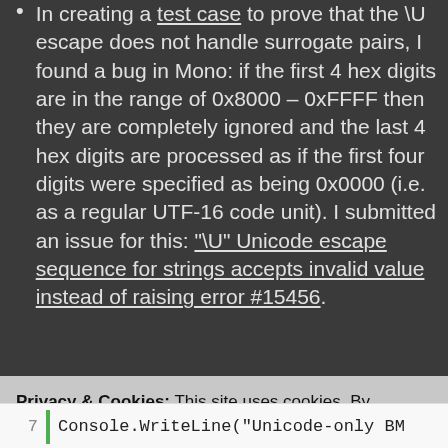In creating a test case to prove that the \U escape does not handle surrogate pairs, I found a bug in Mono: if the first 4 hex digits are in the range of 0x8000 – 0xFFFF then they are completely ignored and the last 4 hex digits are processed as if the first four digits were specified as being 0x0000 (i.e. as a regular UTF-16 code unit). I submitted an issue for this: "\U" Unicode escape sequence for strings accepts invalid value instead of raising error #15456.
Privacy & Cookies: This site uses cookies. By continuing to use this website, you agree to their use.
To find out more, including how to control cookies, see here: Our Cookie Policy
Close and accept
7    Console.WriteLine("Unicode-only BM